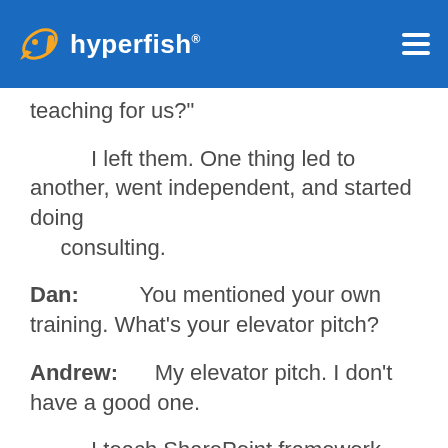hyperfish
teaching for us?
I left them. One thing led to another, went independent, and started doing consulting.
Dan:         You mentioned your own training. What's your elevator pitch?
Andrew:         My elevator pitch. I don't have a good one.
I teach SharePoint framework development to web developers and SharePoint developers and I do it in a video-based...